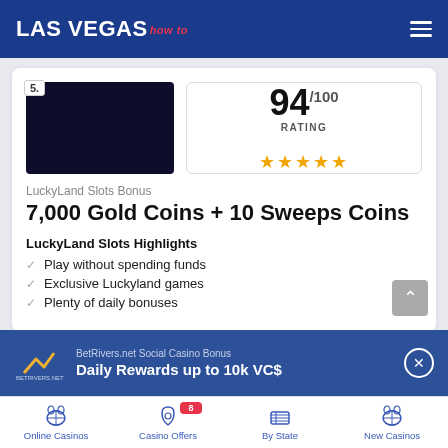LAS VEGAS how to
[Figure (screenshot): LuckyLand Slots casino logo — dark navy/black rectangle]
94/100 RATING ★★★★★
LuckyLand Slots Bonus
7,000 Gold Coins + 10 Sweeps Coins
LuckyLand Slots Highlights
Play without spending funds
Exclusive Luckyland games
Plenty of daily bonuses
BetRivers.net Social Casino Bonus
Daily Rewards up to 10k VC$
Online Casinos | Casino Offers | By State | New Casinos